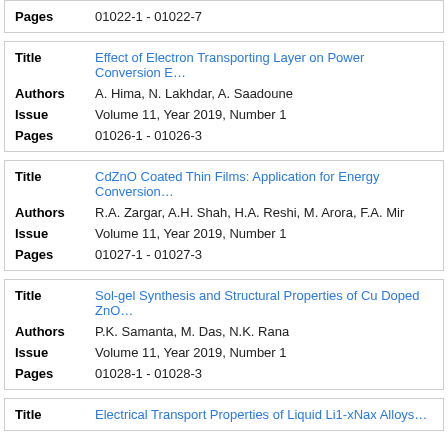| Pages | 01022-1 - 01022-7 |
| Title | Effect of Electron Transporting Layer on Power Conversion E… |
| Authors | A. Hima, N. Lakhdar, A. Saadoune |
| Issue | Volume 11, Year 2019, Number 1 |
| Pages | 01026-1 - 01026-3 |
| Title | CdZnO Coated Thin Films: Application for Energy Conversion… |
| Authors | R.A. Zargar, A.H. Shah, H.A. Reshi, M. Arora, F.A. Mir |
| Issue | Volume 11, Year 2019, Number 1 |
| Pages | 01027-1 - 01027-3 |
| Title | Sol-gel Synthesis and Structural Properties of Cu Doped ZnO… |
| Authors | P.K. Samanta, M. Das, N.K. Rana |
| Issue | Volume 11, Year 2019, Number 1 |
| Pages | 01028-1 - 01028-3 |
| Title | Electrical Transport Properties of Liquid Li1-xNax Alloys… |